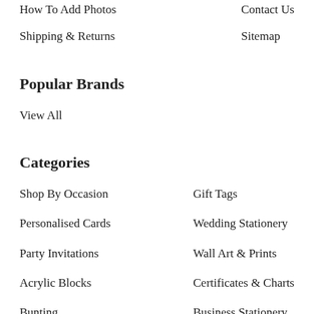How To Add Photos
Contact Us
Shipping & Returns
Sitemap
Popular Brands
View All
Categories
Shop By Occasion
Gift Tags
Personalised Cards
Wedding Stationery
Party Invitations
Wall Art & Prints
Acrylic Blocks
Certificates & Charts
Bunting
Business Stationery
Pocket Hugs
Gifts & Accessories